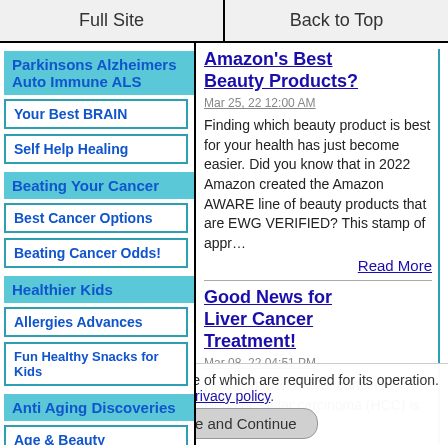Full Site | Back to Top
Parkinsons Alzheimers Auto Immune ALS
Your Best BRAIN
Self Help Healing
Beating Your Cancer
Best Cancer Options
Beating Cancer Odds!
Healthier Kids
Allergies Advances
Fun Healthy Snacks for Kids
Anti Aging Discoveries
Age & Beauty
Amazon's Best Beauty Products?
Mar 25, 22 12:00 AM
Finding which beauty product is best for your health has just become easier. Did you know that in 2022 Amazon created the Amazon AWARE line of beauty products that are EWG VERIFIED? This stamp of appr…
Read More
Good News for Liver Cancer Treatment!
Mar 08, 22 04:51 PM
How common is liver cancer? Hepatocellular carcinoma (HCC) is now…
This site uses cookies, some of which are required for its operation. Privacy policy.
Agree and Continue